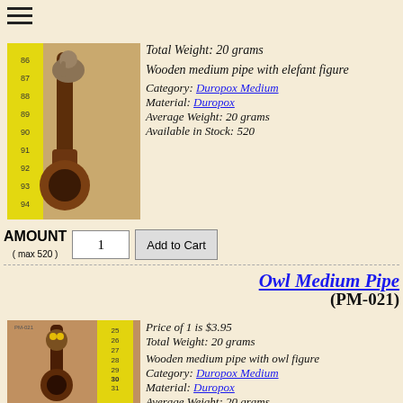[Figure (photo): Wooden medium pipe with elephant figure next to a measuring tape showing cm 86-94]
Total Weight: 20 grams
Wooden medium pipe with elefant figure
Category: Duropox Medium
Material: Duropox
Average Weight: 20 grams
Available in Stock: 520
AMOUNT ( max 520 )   1   Add to Cart
Owl Medium Pipe (PM-021)
[Figure (photo): Wooden medium pipe with owl figure next to a measuring tape showing cm 25-36]
Price of 1 is $3.95
Total Weight: 20 grams
Wooden medium pipe with owl figure
Category: Duropox Medium
Material: Duropox
Average Weight: 20 grams